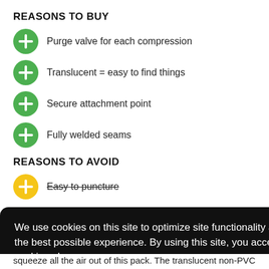REASONS TO BUY
Purge valve for each compression
Translucent = easy to find things
Secure attachment point
Fully welded seams
REASONS TO AVOID
Easy to puncture
We use cookies on this site to optimize site functionality and give you the best possible experience. By using this site, you accept our use of cookies. Learn more
Got it!
squeeze all the air out of this pack. The translucent non-PVC